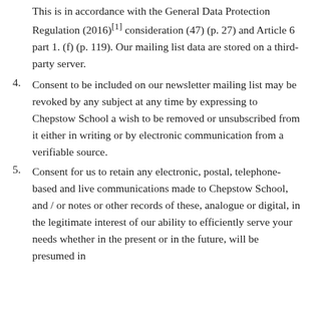This is in accordance with the General Data Protection Regulation (2016)[1] consideration (47) (p. 27) and Article 6 part 1. (f) (p. 119). Our mailing list data are stored on a third-party server.
4. Consent to be included on our newsletter mailing list may be revoked by any subject at any time by expressing to Chepstow School a wish to be removed or unsubscribed from it either in writing or by electronic communication from a verifiable source.
5. Consent for us to retain any electronic, postal, telephone-based and live communications made to Chepstow School, and / or notes or other records of these, analogue or digital, in the legitimate interest of our ability to efficiently serve your needs whether in the present or in the future, will be presumed in